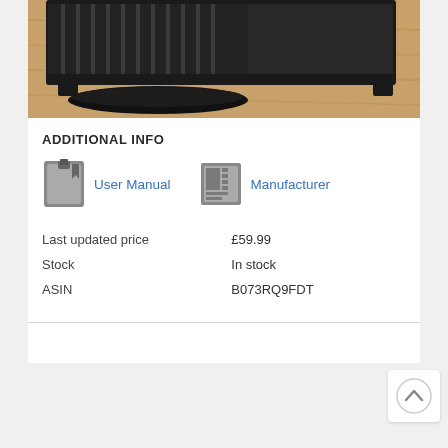[Figure (photo): Product photo of a black electric grill/griddle with ridged cooking surface and drip tray, photographed on a wooden surface]
ADDITIONAL INFO
[Figure (infographic): User Manual icon (bookmark/book icon) and Manufacturer icon (newspaper/document icon) with blue link text labels]
| Last updated price | £59.99 |
| Stock | In stock |
| ASIN | B073RQ9FDT |